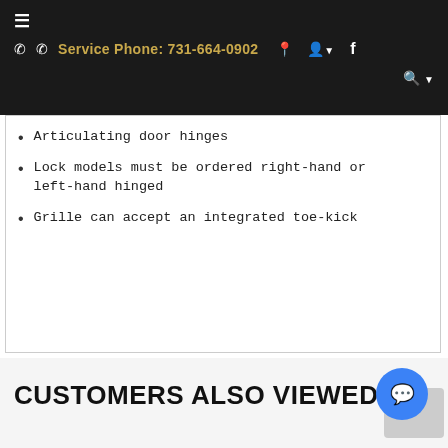≡  ☎ Service Phone: 731-664-0902  📍  👤▾  f  🔍▾
Articulating door hinges
Lock models must be ordered right-hand or left-hand hinged
Grille can accept an integrated toe-kick
CUSTOMERS ALSO VIEWED